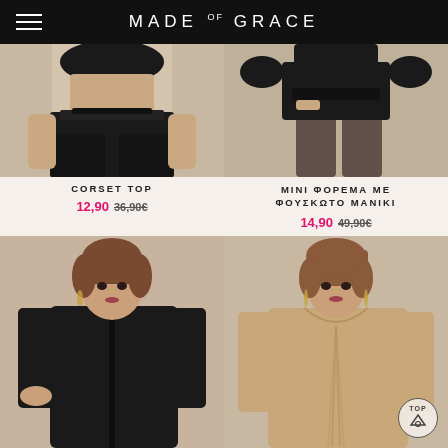MADE OF GRACE
[Figure (photo): Fashion product photo: woman in black corset top and black pants, cropped at waist]
[Figure (photo): Fashion product photo: woman in black mini dress with puffy sleeves, cropped at waist/legs]
CORSET TOP
12,90  36,90€
MINI ΦΟΡΕΜΑ ΜΕ ΦΟΥΣΚΩΤΟ ΜΑΝΙΚΙ
14,90  49,90€
[Figure (photo): Fashion product photo: woman in black long-sleeve collared shirt]
[Figure (photo): Fashion product photo: woman in beige/champagne ruched long-sleeve top]